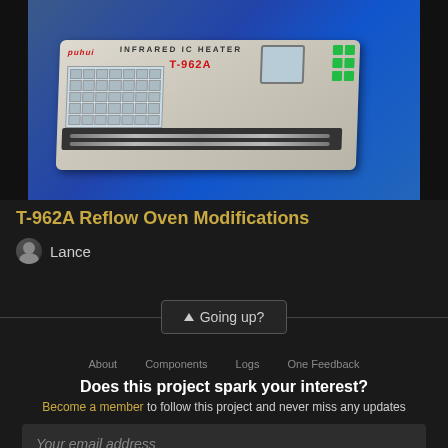[Figure (photo): Photo of a T-962A Infrared IC Heater reflow oven, beige/gray colored machine with a grid display panel, red labeling showing 'puhui' brand and 'T-962A' model, green buttons on the right side, and a slot opening at the bottom, placed on a blue surface.]
T-962A Reflow Oven Modifications
Lance
↑  Going up?
Does this project spark your interest?
Become a member to follow this project and never miss any updates
Your email address